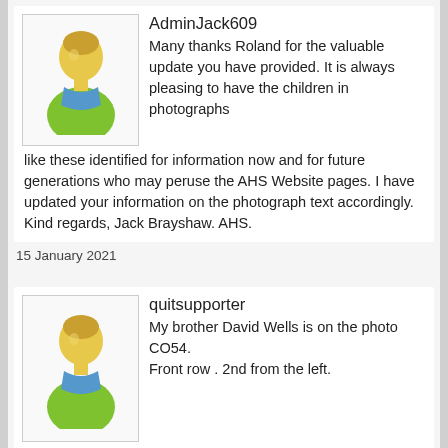[Figure (illustration): Generic user avatar icon — yellow cartoon person with blue scarf on green shirt]
AdminJack609
Many thanks Roland for the valuable update you have provided. It is always pleasing to have the children in photographs like these identified for information now and for future generations who may peruse the AHS Website pages. I have updated your information on the photograph text accordingly. Kind regards, Jack Brayshaw. AHS.
15 January 2021
[Figure (illustration): Generic user avatar icon — yellow cartoon person with blue scarf on green shirt]
quitsupporter
My brother David Wells is on the photo CO54.
Front row . 2nd from the left.
08 October 2021